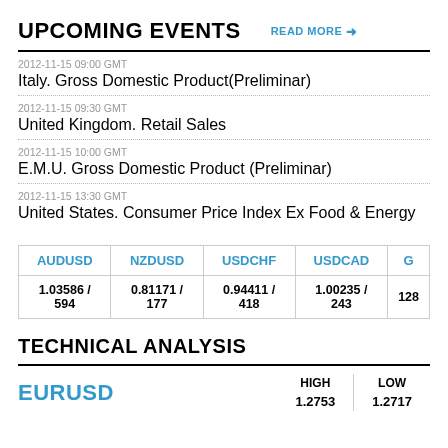UPCOMING EVENTS
2012-11-15 09:00 GMT
Italy. Gross Domestic Product(Preliminar)
2012-11-15 09:30 GMT
United Kingdom. Retail Sales
2012-11-15 10:00 GMT
E.M.U. Gross Domestic Product (Preliminar)
2012-11-15 13:30 GMT
United States. Consumer Price Index Ex Food & Energy
| AUDUSD | NZDUSD | USDCHF | USDCAD | G... |
| --- | --- | --- | --- | --- |
| 1.03586 / 594 | 0.81171 / 177 | 0.94411 / 418 | 1.00235 / 243 | 128... |
TECHNICAL ANALYSIS
EURUSD
| HIGH | LOW |
| --- | --- |
| 1.2753 | 1.2717 |